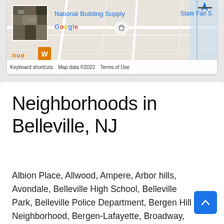[Figure (map): Google Maps screenshot showing area near National Building Supply in Belleville, NJ. Includes satellite thumbnail, Google logo, shopping icon, State Fair S label, keyboard shortcuts, map data copyright 2022, and Terms of Use.]
Neighborhoods in Belleville, NJ
Albion Place, Allwood, Ampere, Arbor hills, Avondale, Belleville High School, Belleville Park, Belleville Police Department, Bergen Hill Neighborhood, Bergen-Lafayette, Broadway, Central Ward, Delawanna, Downtown Newark, Fairmount